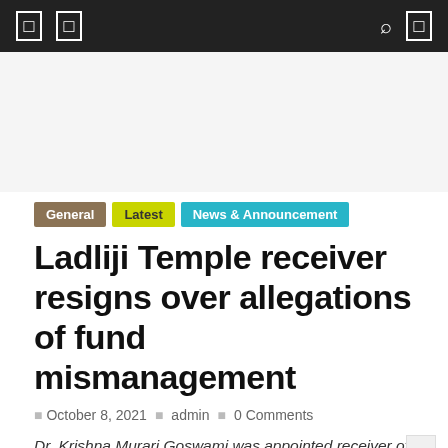Navigation bar with icons
[Figure (other): Advertisement placeholder area]
General
Latest
News & Announcement
Ladliji Temple receiver resigns over allegations of fund mismanagement
October 8, 2021  admin  0 Comments
Dr. Krishna Murari Goswami was appointed receiver of Ladliji Temple, Barsana in 2015
Barsana, 2021-10-08 (Vrindavan Today News):